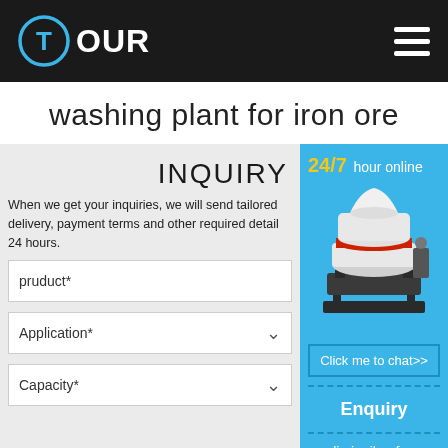TOUR
washing plant for iron ore
INQUIRY
When we get your inquiries, we will send tailored delivery, payment terms and other required detail within 24 hours.
pruduct*
Application*
Capacity*
24/7 hour online
[Figure (photo): Industrial cone crusher machine, white and orange colored, shown on blue background]
Click me to chat>>
Enquiry
limingjlmofen